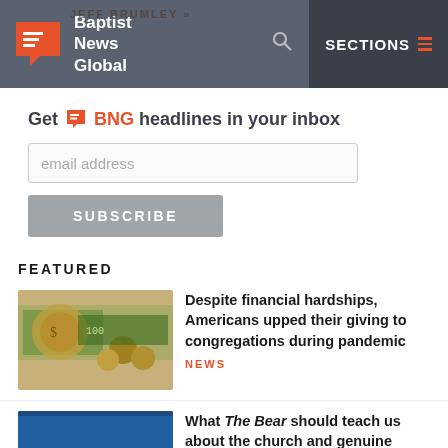Baptist News Global — SECTIONS
Get BNG headlines in your inbox
email address
SUBSCRIBE
FEATURED
Despite financial hardships, Americans upped their giving to congregations during pandemic
NEWS
What The Bear should teach us about the church and genuine acceptance
OPINION